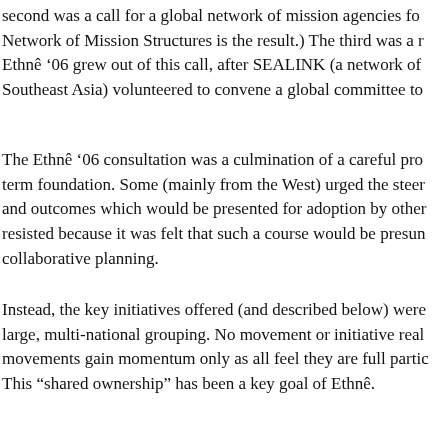second was a call for a global network of mission agencies fo... Network of Mission Structures is the result.) The third was a r... Ethnê '06 grew out of this call, after SEALINK (a network of Southeast Asia) volunteered to convene a global committee to...
The Ethnê '06 consultation was a culmination of a careful pro... term foundation. Some (mainly from the West) urged the steer... and outcomes which would be presented for adoption by other... resisted because it was felt that such a course would be presun... collaborative planning.
Instead, the key initiatives offered (and described below) were... large, multi-national grouping. No movement or initiative real... movements gain momentum only as all feel they are full partic... This "shared ownership" has been a key goal of Ethnê.